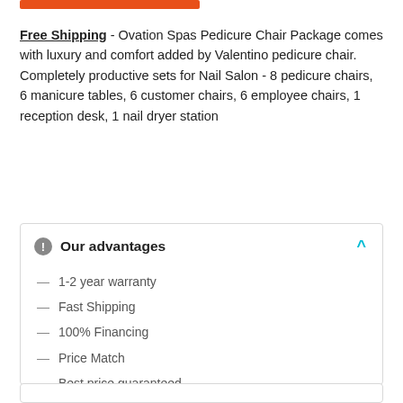Free Shipping - Ovation Spas Pedicure Chair Package comes with luxury and comfort added by Valentino pedicure chair. Completely productive sets for Nail Salon - 8 pedicure chairs, 6 manicure tables, 6 customer chairs, 6 employee chairs, 1 reception desk, 1 nail dryer station
Our advantages
— 1-2 year warranty
— Fast Shipping
— 100% Financing
— Price Match
— Best price guaranteed